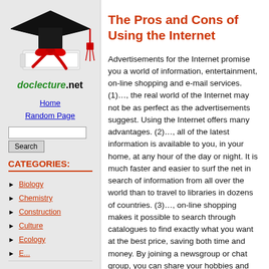[Figure (illustration): Graduation cap with red bow on books (doclecture.net logo image)]
doclecture.net
Home
Random Page
The Pros and Cons of Using the Internet
CATEGORIES:
Biology
Chemistry
Construction
Culture
Ecology
Advertisements for the Internet promise you a world of information, entertainment, on-line shopping and e-mail services. (1)…, the real world of the Internet may not be as perfect as the advertisements suggest. Using the Internet offers many advantages. (2)…, all of the latest information is available to you, in your home, at any hour of the day or night. It is much faster and easier to surf the net in search of information from all over the world than to travel to libraries in dozens of countries. (3)…, on-line shopping makes it possible to search through catalogues to find exactly what you want at the best price, saving both time and money. By joining a newsgroup or chat group, you can share your hobbies and special interests, and